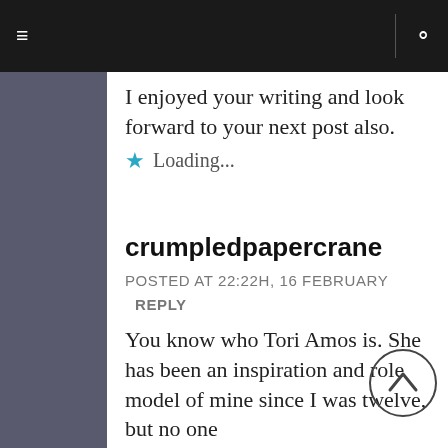≡  |  🔍
I enjoyed your writing and look forward to your next post also.
★ Loading...
crumpledpapercrane
POSTED AT 22:22H, 16 FEBRUARY  REPLY
You know who Tori Amos is. She has been an inspiration and role model of mine since I was twelve, but no one